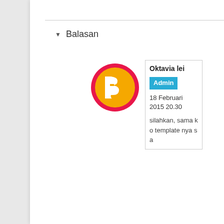Balasan
[Figure (logo): Blogger default avatar - orange circle with pink/red border and white B letter icon]
Oktavia lei
Admin
18 Februari 2015 20.30
silahkan, sama ko template nya sa